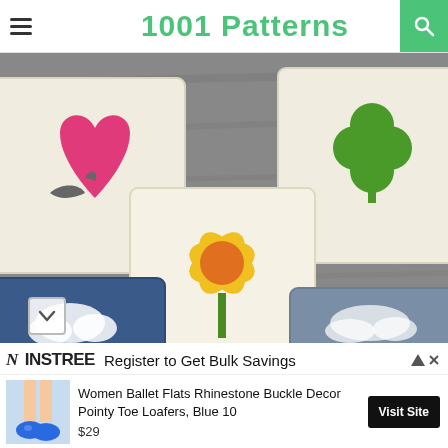1001 Patterns
[Figure (photo): Crochet squares with colorful tapestry designs: a pink heart, a yellow daffodil flower, a green four-leaf clover, and partial views of two blue-themed squares, laid on a wooden surface.]
NINSTREE  Register to Get Bulk Savings
Women Ballet Flats Rhinestone Buckle Decor Pointy Toe Loafers, Blue 10
$29
Visit Site